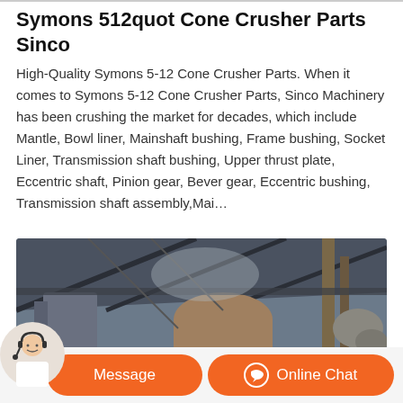Symons 512quot Cone Crusher Parts Sinco
High-Quality Symons 5-12 Cone Crusher Parts. When it comes to Symons 5-12 Cone Crusher Parts, Sinco Machinery has been crushing the market for decades, which include Mantle, Bowl liner, Mainshaft bushing, Frame bushing, Socket Liner, Transmission shaft bushing, Upper thrust plate, Eccentric shaft, Pinion gear, Bever gear, Eccentric bushing, Transmission shaft assembly,Mai…
[Figure (photo): Industrial cone crusher machinery inside a large facility with metal scaffolding, pipes, and machinery parts visible.]
[Figure (illustration): Orange message button and online chat button at the bottom, with a customer service avatar on the left.]